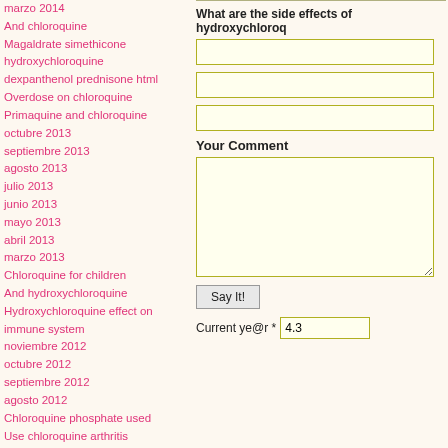marzo 2014
And chloroquine
Magaldrate simethicone hydroxychloroquine dexpanthenol prednisone html
Overdose on chloroquine
Primaquine and chloroquine
octubre 2013
septiembre 2013
agosto 2013
julio 2013
junio 2013
mayo 2013
abril 2013
marzo 2013
Chloroquine for children
And hydroxychloroquine
Hydroxychloroquine effect on immune system
noviembre 2012
octubre 2012
septiembre 2012
agosto 2012
Chloroquine phosphate used
Use chloroquine arthritis
Hydroxychloroquine and steroids
abril 2012
What are the side effects of hydroxychloroquine
Your Comment
Say It!
Current ye@r * 4.3